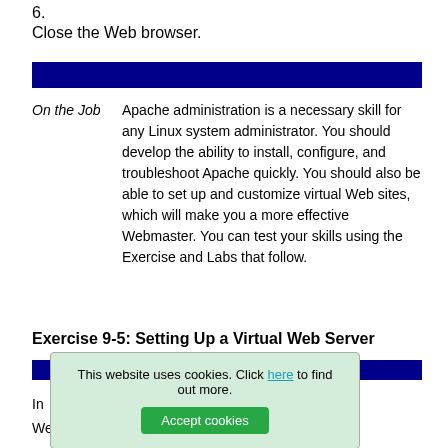6.
Close the Web browser.
[Figure (other): Dark navy blue horizontal bar divider]
On the Job   Apache administration is a necessary skill for any Linux system administrator. You should develop the ability to install, configure, and troubleshoot Apache quickly. You should also be able to set up and customize virtual Web sites, which will make you a more effective Webmaster. You can test your skills using the Exercise and Labs that follow.
Exercise 9-5: Setting Up a Virtual Web Server
[Figure (other): Dark navy blue horizontal bar divider]
This website uses cookies. Click here to find out more. Accept cookies
In
Web site. You can use this technique with different